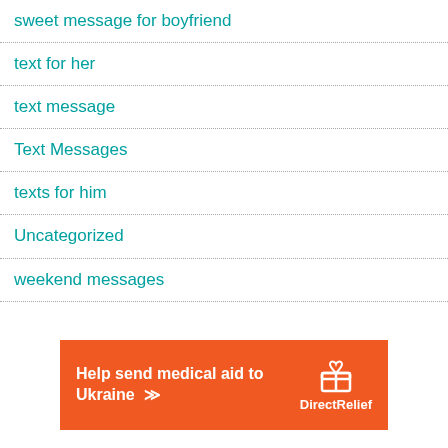sweet message for boyfriend
text for her
text message
Text Messages
texts for him
Uncategorized
weekend messages
[Figure (infographic): Orange banner advertisement: 'Help send medical aid to Ukraine >>' with Direct Relief logo on the right side.]